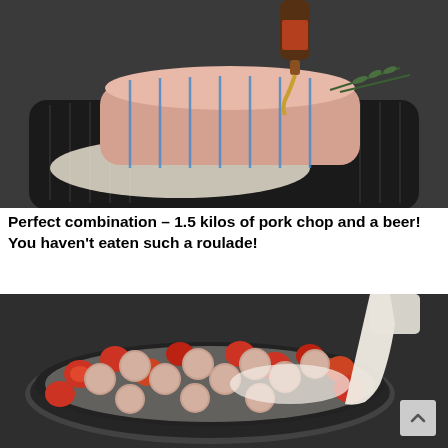[Figure (photo): Raw stuffed pork chop roulade tied with string on a dark tray, filled with vegetables and cheese, with beer being poured over it and a rosemary garnish]
Perfect combination – 1.5 kilos of pork chop and a beer! You haven't eaten such a roulade!
[Figure (photo): Round glass baking dish filled with raw meatballs and halved cherry tomatoes, with cream being poured over them]